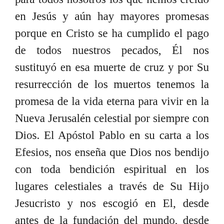para todos nosotros los que hemos creído en Jesús y aún hay mayores promesas porque en Cristo se ha cumplido el pago de todos nuestros pecados, Él nos sustituyó en esa muerte de cruz y por Su resurrección de los muertos tenemos la promesa de la vida eterna para vivir en la Nueva Jerusalén celestial por siempre con Dios. El Apóstol Pablo en su carta a los Efesios, nos enseña que Dios nos bendijo con toda bendición espiritual en los lugares celestiales a través de Su Hijo Jesucristo y nos escogió en El, desde antes de la fundación del mundo, desde antes de haber nacido para que